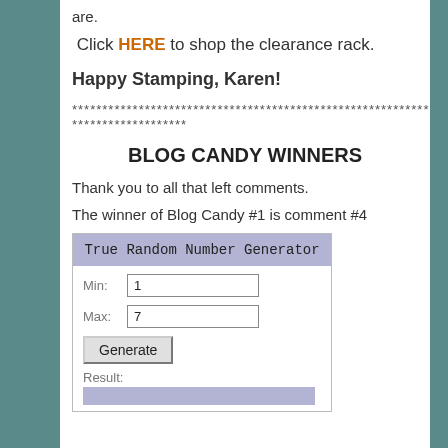are.
Click HERE to shop the clearance rack.
Happy Stamping, Karen!
******************************************************************************
BLOG CANDY WINNERS
Thank you to all that left comments.
The winner of Blog Candy #1 is comment #4
[Figure (screenshot): True Random Number Generator widget showing Min: 1, Max: 7, a Generate button, and a Result field with blue background.]